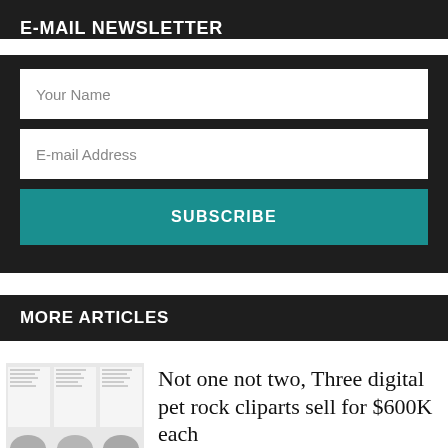E-MAIL NEWSLETTER
Your Name
E-mail Address
SUBSCRIBE
MORE ARTICLES
[Figure (photo): Thumbnail showing three digital pet rock clipart images arranged in a collage]
Not one not two, Three digital pet rock cliparts sell for $600K each